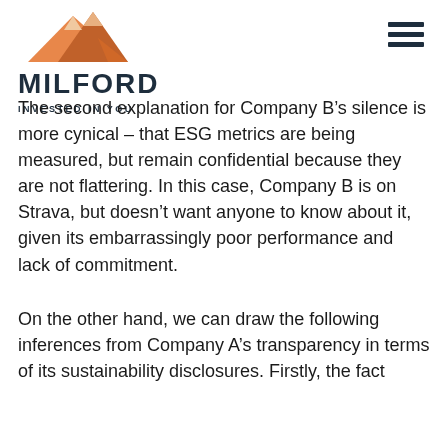MILFORD INVESTED IN YOU
The second explanation for Company B’s silence is more cynical – that ESG metrics are being measured, but remain confidential because they are not flattering. In this case, Company B is on Strava, but doesn’t want anyone to know about it, given its embarrassingly poor performance and lack of commitment.
On the other hand, we can draw the following inferences from Company A’s transparency in terms of its sustainability disclosures. Firstly, the fact